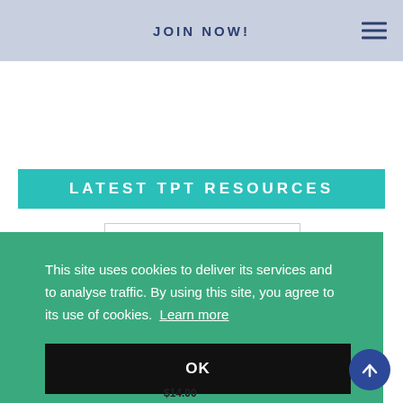JOIN NOW!
LATEST TPT RESOURCES
[Figure (logo): Teachers Pay Teachers logo with apple icon and text 'Teachers Pay Teachers', preceded by 'FROM MY STORE AT']
[Figure (screenshot): Preview of a TPT resource showing a green/blue dashed-border item preview]
This site uses cookies to deliver its services and to analyse traffic. By using this site, you agree to its use of cookies.  Learn more
OK
$14.00